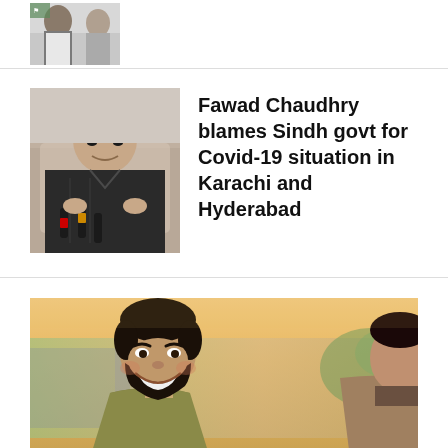[Figure (photo): Partial cropped photo at top of page showing two people, partially visible]
[Figure (photo): Fawad Chaudhry speaking at a press conference with microphones in front of him, wearing dark sherwani]
Fawad Chaudhry blames Sindh govt for Covid-19 situation in Karachi and Hyderabad
[Figure (photo): Young bearded man smiling, wearing olive/khaki shirt, outdoor setting with blurred background, another person partially visible on right]